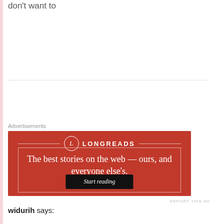You don't have to finish something if you don't want to
Advertisements
[Figure (other): Longreads advertisement banner with red background. Shows the Longreads logo (circle with L) and tagline: 'The best stories on the web — ours, and everyone else's.' with a 'Start reading' button.]
REPORT THIS AD
widurih says: